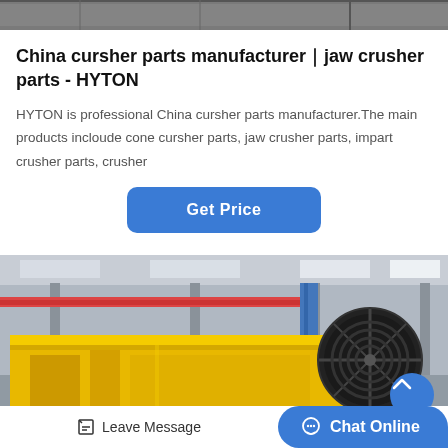[Figure (photo): Top strip showing industrial machinery background, dark grey tones]
China cursher parts manufacturer｜jaw crusher parts - HYTON
HYTON is professional China cursher parts manufacturer.The main products incloude cone cursher parts, jaw crusher parts, impart crusher parts, crusher
[Figure (other): Blue rounded-rectangle 'Get Price' button]
[Figure (photo): Large yellow jaw crusher machine in an industrial warehouse with steel columns and crane beams overhead. A large black ribbed pulley wheel is visible on the right side of the machine.]
[Figure (other): Blue circular scroll-up button with chevron icon in bottom-right of machine image]
Leave Message   Chat Online